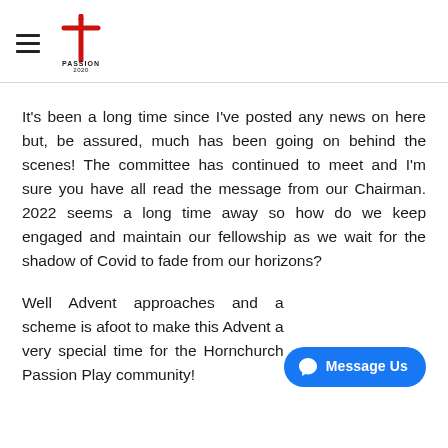Passion 2020 logo with hamburger menu
It's been a long time since I've posted any news on here but, be assured, much has been going on behind the scenes! The committee has continued to meet and I'm sure you have all read the message from our Chairman. 2022 seems a long time away so how do we keep engaged and maintain our fellowship as we wait for the shadow of Covid to fade from our horizons?
Well Advent approaches and a scheme is afoot to make this Advent a very special time for the Hornchurch Passion Play community!